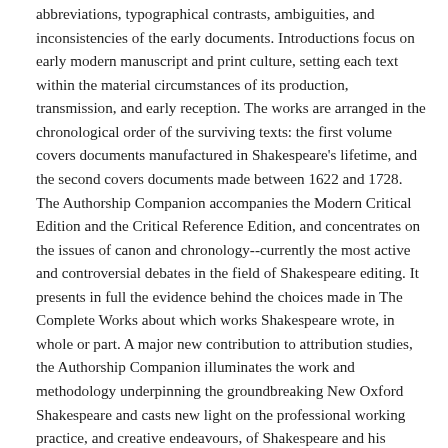abbreviations, typographical contrasts, ambiguities, and inconsistencies of the early documents. Introductions focus on early modern manuscript and print culture, setting each text within the material circumstances of its production, transmission, and early reception. The works are arranged in the chronological order of the surviving texts: the first volume covers documents manufactured in Shakespeare's lifetime, and the second covers documents made between 1622 and 1728. The Authorship Companion accompanies the Modern Critical Edition and the Critical Reference Edition, and concentrates on the issues of canon and chronology--currently the most active and controversial debates in the field of Shakespeare editing. It presents in full the evidence behind the choices made in The Complete Works about which works Shakespeare wrote, in whole or part. A major new contribution to attribution studies, the Authorship Companion illuminates the work and methodology underpinning the groundbreaking New Oxford Shakespeare and casts new light on the professional working practice, and creative endeavours, of Shakespeare and his contemporaries.